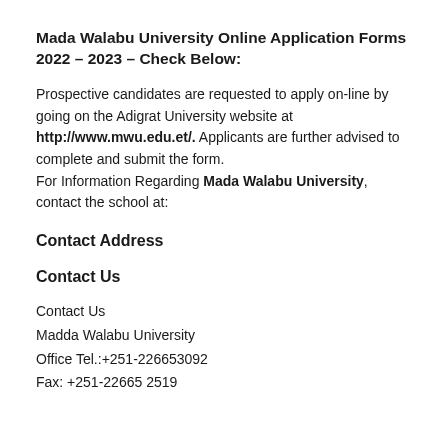Mada Walabu University Online Application Forms 2022 – 2023 – Check Below:
Prospective candidates are requested to apply on-line by going on the Adigrat University website at http://www.mwu.edu.et/. Applicants are further advised to complete and submit the form. For Information Regarding Mada Walabu University, contact the school at:
Contact Address
Contact Us
Contact Us
Madda Walabu University
Office Tel.:+251-226653092
Fax: +251-22665 2519